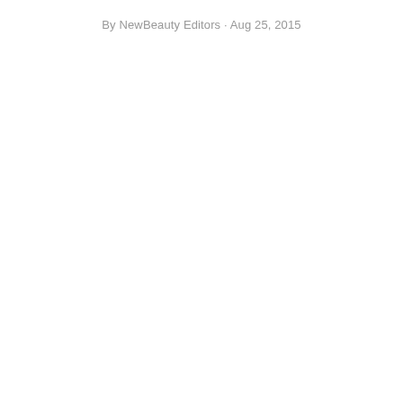By NewBeauty Editors · Aug 25, 2015